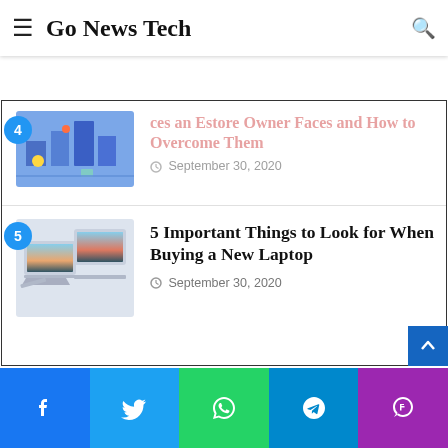Go News Tech
[Figure (screenshot): Partially visible article 4 thumbnail - blue isometric tech illustration]
ces an Estore Owner Faces and How to Overcome Them
September 30, 2020
[Figure (photo): Two laptops side by side on white background]
5 Important Things to Look for When Buying a New Laptop
September 30, 2020
[Figure (other): Scroll to top button - blue arrow up]
Facebook | Twitter | WhatsApp | Telegram | Phone